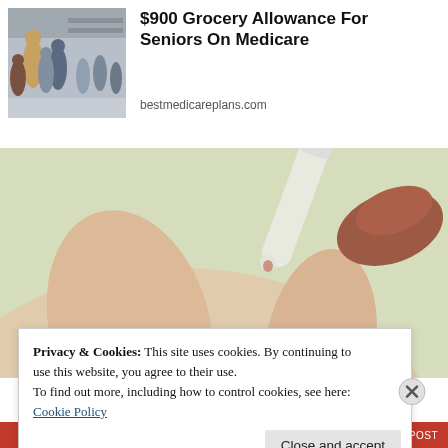[Figure (photo): Thumbnail image of people in a grocery store, used as advertisement thumbnail]
$900 Grocery Allowance For Seniors On Medicare
bestmedicareplans.com
[Figure (photo): Close-up photo of a hand being pricked by a blood glucose testing device, with a lancet or pen device visible]
Privacy & Cookies: This site uses cookies. By continuing to use this website, you agree to their use.
To find out more, including how to control cookies, see here: Cookie Policy
Close and accept